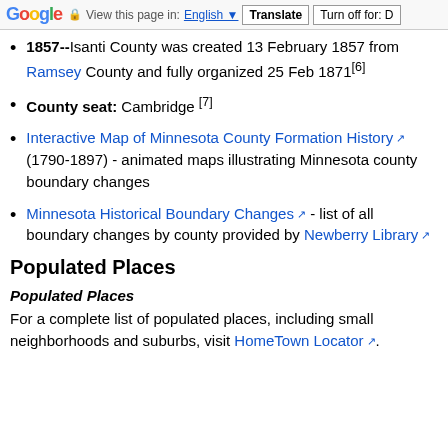Google  View this page in: English Translate  Turn off for: D
1857--Isanti County was created 13 February 1857 from Ramsey County and fully organized 25 Feb 1871[6]
County seat: Cambridge [7]
Interactive Map of Minnesota County Formation History (1790-1897) - animated maps illustrating Minnesota county boundary changes
Minnesota Historical Boundary Changes - list of all boundary changes by county provided by Newberry Library
Populated Places
Populated Places
For a complete list of populated places, including small neighborhoods and suburbs, visit HomeTown Locator.